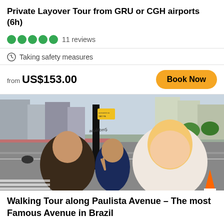Private Layover Tour from GRU or CGH airports (6h)
●●●●● 11 reviews
🛡 Taking safety measures
from US$153.00
Book Now
[Figure (photo): Three tourists taking a selfie on Paulista Avenue in São Paulo, Brazil. A wide urban avenue is visible in the background with tall buildings, trees, and traffic cones. A black pole with graffiti is visible, and one woman in foreground is blonde, another woman with dark hair makes a peace sign.]
Walking Tour along Paulista Avenue – The most Famous Avenue in Brazil
Take a 4 hour private walking tour on Paulista Ave. to unveil